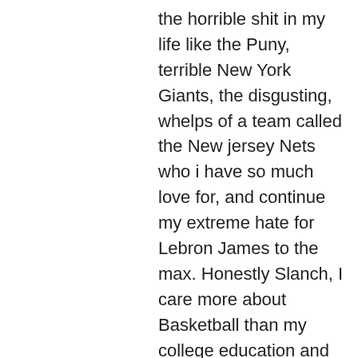the horrible shit in my life like the Puny, terrible New York Giants, the disgusting, whelps of a team called the New jersey Nets who i have so much love for, and continue my extreme hate for Lebron James to the max. Honestly Slanch, I care more about Basketball than my college education and all of my family pets combined. I am not trying to put down the above posters. But They have no idea the pain and anguish that is in my heart every night when I must choose either to watch two minute game recaps of games I actually want to watch or the Celtics demolish Every team i have come to love.
If you believe in true love, True Pain, or the bonds of friendship and brotherhood you will